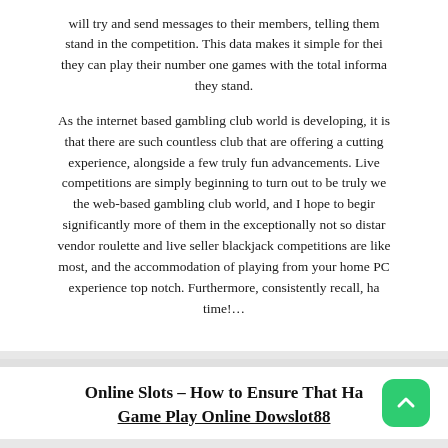will try and send messages to their members, telling them stand in the competition. This data makes it simple for the they can play their number one games with the total informa they stand.
As the internet based gambling club world is developing, it is that there are such countless club that are offering a cutting experience, alongside a few truly fun advancements. Live competitions are simply beginning to turn out to be truly w the web-based gambling club world, and I hope to begir significantly more of them in the exceptionally not so distan vendor roulette and live seller blackjack competitions are like most, and the accommodation of playing from your home PC experience top notch. Furthermore, consistently recall, ha time!...
Online Slots – How to Ensure That Ha Game Play Online Dowslot88